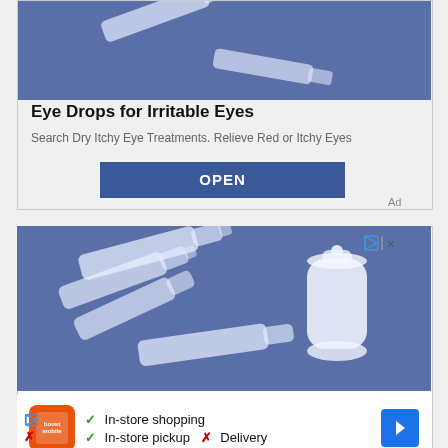[Figure (photo): Eye drop vials/ampoules on blue background, partial view from top of ad]
Eye Drops for Irritable Eyes
Search Dry Itchy Eye Treatments. Relieve Red or Itchy Eyes
OPEN
Ad
[Figure (photo): Multiple eye drop vials and a dropper bottle on blue background]
✓ In-store shopping
✓ In-store pickup  ✗ Delivery